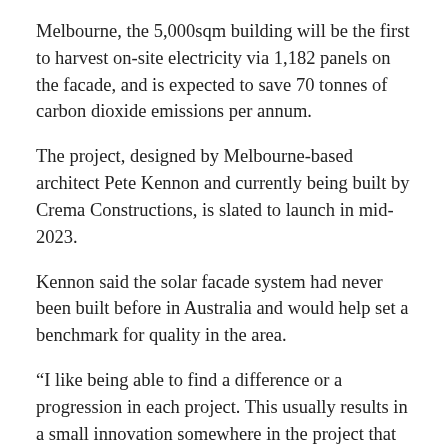Melbourne, the 5,000sqm building will be the first to harvest on-site electricity via 1,182 panels on the facade, and is expected to save 70 tonnes of carbon dioxide emissions per annum.
The project, designed by Melbourne-based architect Pete Kennon and currently being built by Crema Constructions, is slated to launch in mid-2023.
Kennon said the solar facade system had never been built before in Australia and would help set a benchmark for quality in the area.
“I like being able to find a difference or a progression in each project. This usually results in a small innovation somewhere in the project that teaches us something,” added Kennon, who founded the firm that goes by his surname.
“The development includes wellness initiatives to optimise the user experience of its occupants including controlled thermal comfort through natural lighting levels, providing